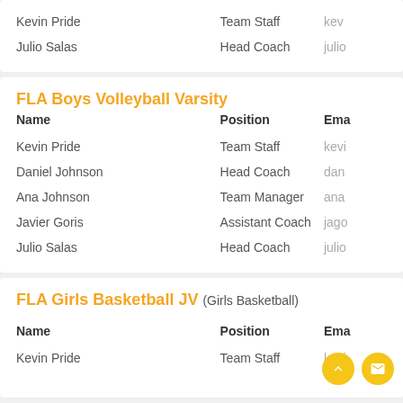| Name | Position | Email |
| --- | --- | --- |
| Kevin Pride | Team Staff | kev… |
| Julio Salas | Head Coach | julio… |
FLA Boys Volleyball Varsity
| Name | Position | Email |
| --- | --- | --- |
| Kevin Pride | Team Staff | kevi… |
| Daniel Johnson | Head Coach | dan… |
| Ana Johnson | Team Manager | ana… |
| Javier Goris | Assistant Coach | jago… |
| Julio Salas | Head Coach | julio… |
FLA Girls Basketball JV (Girls Basketball)
| Name | Position | Email |
| --- | --- | --- |
| Kevin Pride | Team Staff | kevi… |